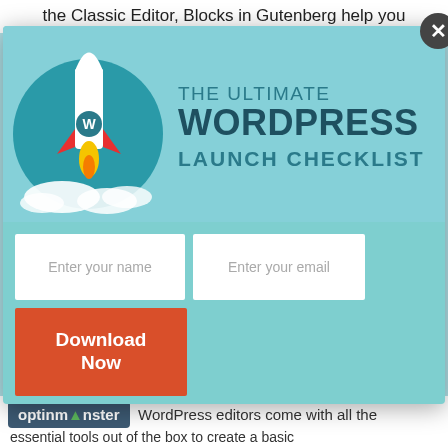the Classic Editor, Blocks in Gutenberg help you
[Figure (screenshot): Popup modal with light blue background. Left side shows an illustrated rocket with the WordPress logo launching from clouds. Right side shows text: 'THE ULTIMATE WORDPRESS LAUNCH CHECKLIST'. Below the banner are two form input fields labeled 'Enter your name' and 'Enter your email', plus a red 'Download Now' button.]
optinmonster WordPress editors come with all the essential tools out of the box to create a basic